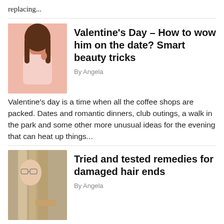replacing...
Valentine's Day – How to wow him on the date? Smart beauty tricks
By Angela
Valentine's day is a time when all the coffee shops are packed. Dates and romantic dinners, club outings, a walk in the park and some other more unusual ideas for the evening that can heat up things...
Tried and tested remedies for damaged hair ends
By Angela
Dry, weak, dull, splitting hair is a nightmare giving many women sleepless nights. Split hair ends are the most irritating and if we fail to fix them, the hair